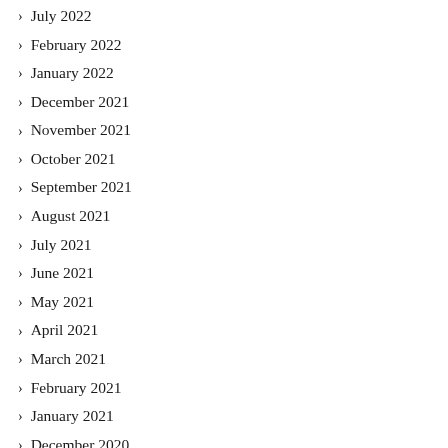July 2022
February 2022
January 2022
December 2021
November 2021
October 2021
September 2021
August 2021
July 2021
June 2021
May 2021
April 2021
March 2021
February 2021
January 2021
December 2020
November 2020
October 2020
September 2020
August 2020
July 2020